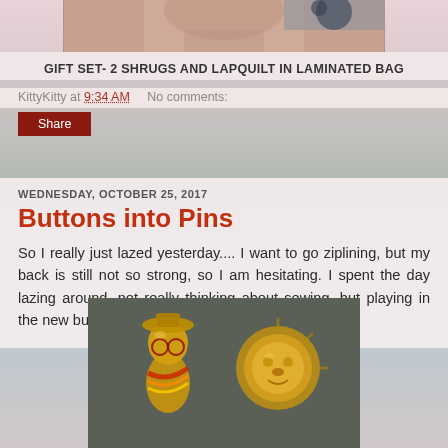[Figure (photo): Top partial photo of a hand/fabric with dark pattern, cropped at top]
GIFT SET- 2 SHRUGS AND LAPQUILT IN LAMINATED BAG
KittyKitty at 9:34 AM    No comments:
Share
WEDNESDAY, OCTOBER 25, 2017
Buttons into Pins
So I really just lazed yesterday....  I want to go ziplining, but my back is still not so strong, so I am hesitating.  I spent the day lazing around, not really thinking about sewing, but playing in the new button stash.... arranging different pins.
[Figure (photo): Photo of two decorative gold pins/brooches on grey fabric - left appears to be a clown/person figure, right appears to be a lion head]